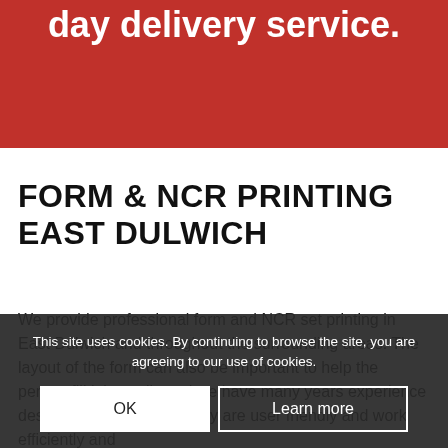day delivery service.
FORM & NCR PRINTING EAST DULWICH
We provide professional form and NCR set printing in East Dulwich and throughout the surrounding areas. The layout of the form can also be important to help the person fill it in easily and we have many years experience designing forms so that they are user friendly and work efficiently and
This site uses cookies. By continuing to browse the site, you are agreeing to our use of cookies.
OK
Learn more